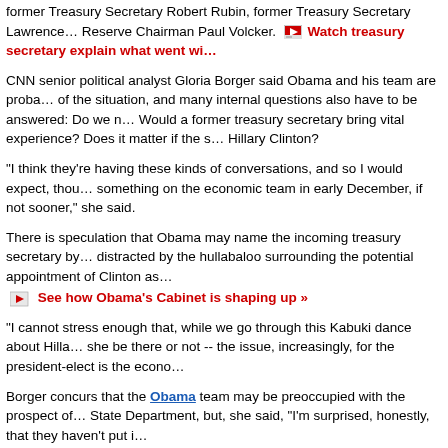former Treasury Secretary Robert Rubin, former Treasury Secretary Lawrence ... Reserve Chairman Paul Volcker.
Watch treasury secretary explain what went wi...
CNN senior political analyst Gloria Borger said Obama and his team are probably aware of the situation, and many internal questions also have to be answered: Do we n... Would a former treasury secretary bring vital experience? Does it matter if the s... Hillary Clinton?
"I think they're having these kinds of conversations, and so I would expect, thou... something on the economic team in early December, if not sooner," she said.
There is speculation that Obama may name the incoming treasury secretary by... distracted by the hullabaloo surrounding the potential appointment of Clinton as...
See how Obama's Cabinet is shaping up »
"I cannot stress enough that, while we go through this Kabuki dance about Hilla... she be there or not -- the issue, increasingly, for the president-elect is the econo...
Borger concurs that the Obama team may be preoccupied with the prospect of... State Department, but, she said, "I'm surprised, honestly, that they haven't put i...
However, Borger said she thinks Obama is already working behind the scenes t... Emanuel, and she doesn't think the Democrats would have postponed their dec... without checking with Obama.
Borger said she expects a "big push" from Democrats to find a way to save Det... Congress reconvenes in December, and Emanuel and Obama will be a part of i...
"But honestly, you can't expect a president-elect, who hasn't even been sworn i... capital -- and, by the way, he's going to have a lot -- before he takes office," she...
advertisement
There's a lot of risk involved in Obama pu...